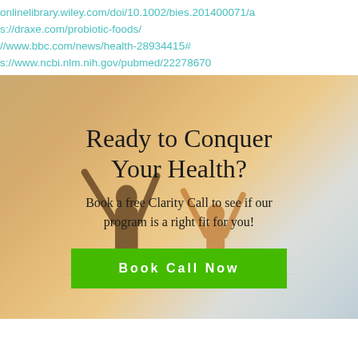onlinelibrary.wiley.com/doi/10.1002/bies.201400071/a
s://draxe.com/probiotic-foods/
://www.bbc.com/news/health-28934415#
s://www.ncbi.nlm.nih.gov/pubmed/22278670
[Figure (photo): Two silhouetted people with arms raised against a warm sunset/sky background, promotional health banner]
Ready to Conquer Your Health?
Book a free Clarity Call to see if our program is a right fit for you!
Book Call Now